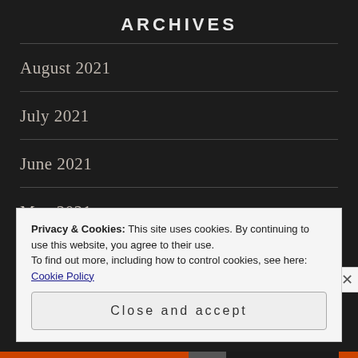ARCHIVES
August 2021
July 2021
June 2021
May 2021
April 2021
March 2021
Privacy & Cookies: This site uses cookies. By continuing to use this website, you agree to their use.
To find out more, including how to control cookies, see here: Cookie Policy
Close and accept